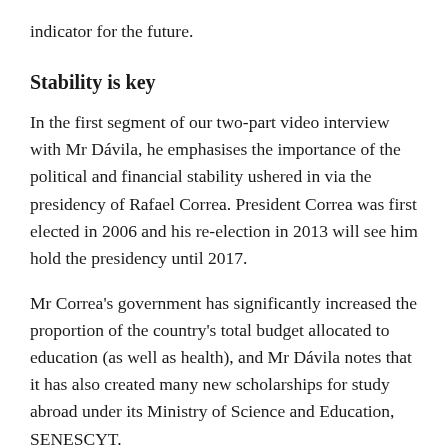indicator for the future.
Stability is key
In the first segment of our two-part video interview with Mr Dávila, he emphasises the importance of the political and financial stability ushered in via the presidency of Rafael Correa. President Correa was first elected in 2006 and his re-election in 2013 will see him hold the presidency until 2017.
Mr Correa's government has significantly increased the proportion of the country's total budget allocated to education (as well as health), and Mr Dávila notes that it has also created many new scholarships for study abroad under its Ministry of Science and Education, SENESCYT.